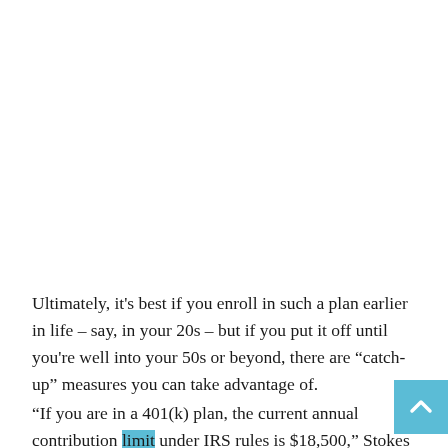Ultimately, it's best if you enroll in such a plan earlier in life – say, in your 20s – but if you put it off until you're well into your 50s or beyond, there are “catch-up” measures you can take advantage of.
“If you are in a 401(k) plan, the current annual contribution limit under IRS rules is $18,500,” Stokes says. “But if you are 50 or